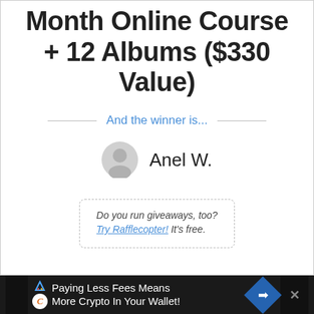Month Online Course + 12 Albums ($330 Value)
And the winner is...
Anel W.
Do you run giveaways, too? Try Rafflecopter! It's free.
Paying Less Fees Means More Crypto In Your Wallet!